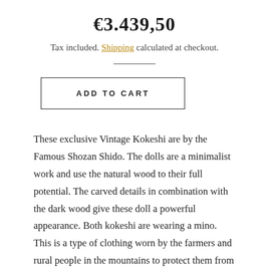€3.439,50
Tax included. Shipping calculated at checkout.
ADD TO CART
These exclusive Vintage Kokeshi are by the Famous Shozan Shido. The dolls are a minimalist work and use the natural wood to their full potential. The carved details in combination with the dark wood give these doll a powerful appearance. Both kokeshi are wearing a mino. This is a type of clothing worn by the farmers and rural people in the mountains to protect them from rain and snow. This representation is a